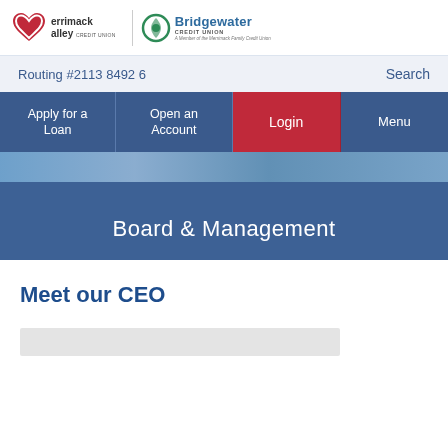[Figure (logo): Merrimack Valley Credit Union and Bridgewater Credit Union logos side by side with a divider]
Routing #2113 8492 6    Search
Apply for a Loan
Open an Account
Login
Menu
Board & Management
Meet our CEO
[Figure (other): Gray placeholder bar for content]